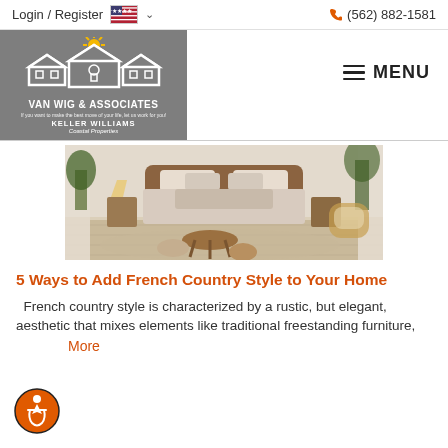Login / Register   (562) 882-1581
[Figure (logo): Van Wig & Associates Keller Williams Coastal Properties logo with house/roof silhouettes on grey background]
[Figure (photo): A boho-style bedroom with a wooden bed frame, neutral linen bedding, indoor plants, and light hardwood floors]
5 Ways to Add French Country Style to Your Home
French country style is characterized by a rustic, but elegant, aesthetic that mixes elements like traditional freestanding furniture,
More